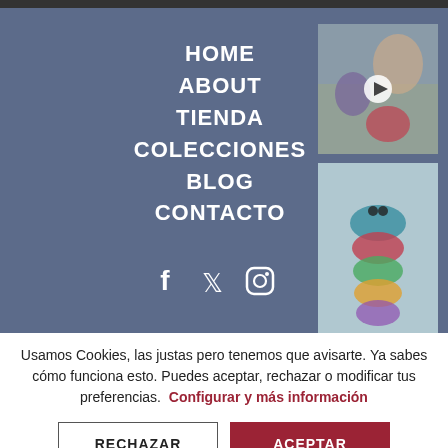HOME
ABOUT
TIENDA
COLECCIONES
BLOG
CONTACTO
[Figure (photo): Woman holding knitted dolls outdoors]
[Figure (photo): Colorful knitted caterpillar toy being held]
Usamos Cookies, las justas pero tenemos que avisarte. Ya sabes cómo funciona esto. Puedes aceptar, rechazar o modificar tus preferencias.  Configurar y más información
RECHAZAR
ACEPTAR